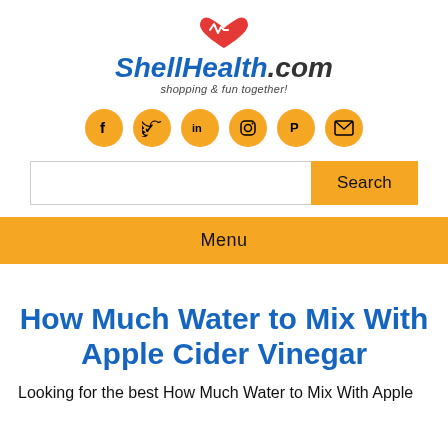[Figure (logo): ShellHealth.com logo with red heart and heartbeat line icon, bold blue italic text 'ShellHealth.com' and tagline 'shopping & fun together!']
[Figure (infographic): Row of six orange circular social media icons: Facebook (f), Twitter (bird), LinkedIn (in), Instagram (camera), Pinterest (P), Email (envelope)]
[Figure (screenshot): Search bar with white input field and orange Search button]
Menu
How Much Water to Mix With Apple Cider Vinegar
Looking for the best How Much Water to Mix With Apple